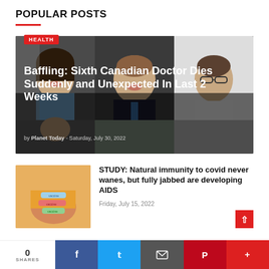POPULAR POSTS
[Figure (photo): Collage of six portrait photos of doctors on dark background]
Baffling: Sixth Canadian Doctor Dies Suddenly and Unexpected In Last 2 Weeks
by Planet Today - Saturday, July 30, 2022
[Figure (photo): Person with vaccine bandage stickers on arm wearing yellow shirt]
STUDY: Natural immunity to covid never wanes, but fully jabbed are developing AIDS
Friday, July 15, 2022